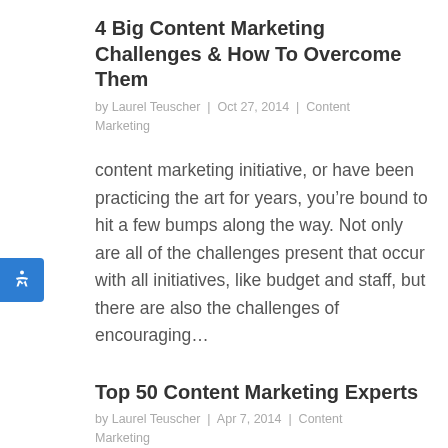4 Big Content Marketing Challenges & How To Overcome Them
by Laurel Teuscher | Oct 27, 2014 | Content Marketing
content marketing initiative, or have been practicing the art for years, you’re bound to hit a few bumps along the way. Not only are all of the challenges present that occur with all initiatives, like budget and staff, but there are also the challenges of encouraging…
Top 50 Content Marketing Experts
by Laurel Teuscher | Apr 7, 2014 | Content Marketing
At Stryde, we strive to connect with all facets of